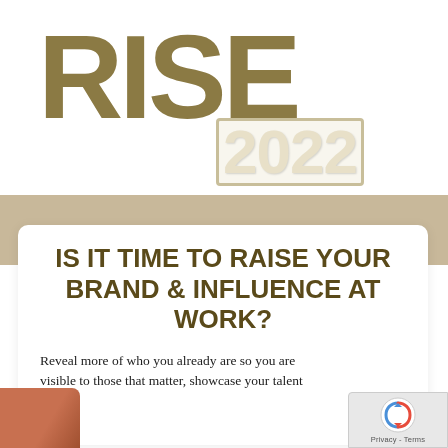[Figure (logo): RISE 2022 logo — large bold gold/tan letters 'RISE' with '2022' overlapping at bottom right in a cream/outlined style]
IS IT TIME TO RAISE YOUR BRAND & INFLUENCE AT WORK?
Reveal more of who you already are so you are visible to those that matter, showcase your talent